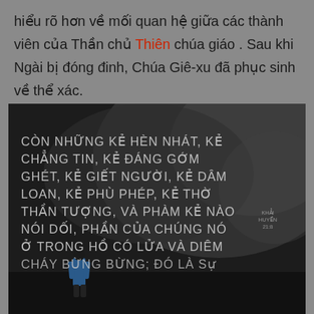hiểu rõ hơn về mối quan hệ giữa các thành viên của Thần chủ Thiên chúa giáo . Sau khi Ngài bị đóng đinh, Chúa Giê-xu đã phục sinh về thể xác.
[Figure (photo): Dark atmospheric image with a lone figure in a blue jacket standing in a misty/cloudy environment. White Vietnamese text overlaid reads: 'CÒN NHỮNG KẺ HÈN NHÁT, KẺ CHẲNG TIN, KẺ ĐÁNG GỚM GHÉT, KẺ GIẾT NGƯỜI, KẺ DÂM LOAN, KẺ PHÙ PHÉP, KẺ THỜ THẦN TƯỢNG, VÀ PHÀM KẺ NÀO NÓI DỐI, PHẦN CỦA CHÚNG NÓ Ở TRONG HỒ CÓ LỬA VÀ DIÊM CHÁY BỪNG BỪNG; ĐÓ LÀ Sự'. Scripture reference: KHẢI HUYỀN 21:8]